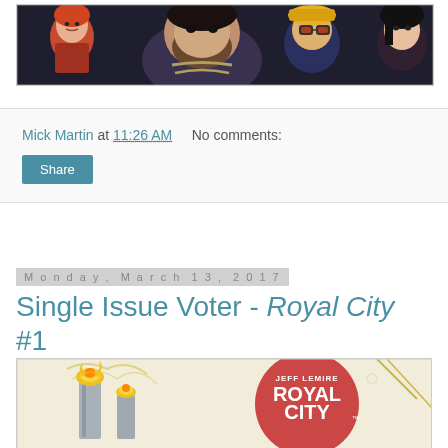[Figure (illustration): Comic book cover showing several characters - a woman, a bearded man with chains, a person with goggles/yellow hat, and a woman with dark hair, dark stylized comic art]
Mick Martin at 11:26 AM   No comments:
Share
Monday, March 13, 2017
Single Issue Voter - Royal City #1
[Figure (illustration): Royal City #1 comic book cover by Jeff Lemire, showing industrial smokestacks with flames and the title Royal City in bold white text on a red circular background]